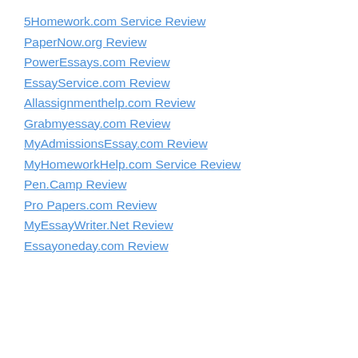5Homework.com Service Review
PaperNow.org Review
PowerEssays.com Review
EssayService.com Review
Allassignmenthelp.com Review
Grabmyessay.com Review
MyAdmissionsEssay.com Review
MyHomeworkHelp.com Service Review
Pen.Camp Review
Pro Papers.com Review
MyEssayWriter.Net Review
Essayoneday.com Review